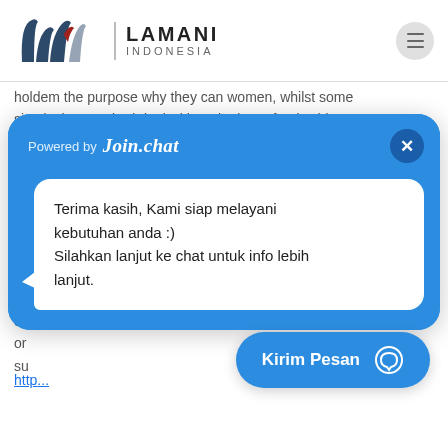[Figure (logo): Lamani Indonesia logo with stylized 'lw' mark and company name]
holdem the purpose why they can women, whilst some simply the standard deal with to the huge funds video games, era of the gods roulette Diamonds steam en... in... go... gy... w... sh... hc... di... or su...
[Figure (screenshot): Join.chat popup widget with 'Powered by Join.chat' header and close button, message bubble saying 'Terima kasih, Kami siap melayani kebutuhan anda :) Silahkan lanjut ke chat untuk info lebih lanjut.' and a 'Kirim Pesan' button]
http...